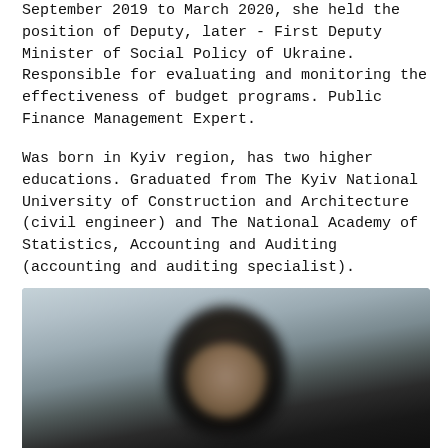September 2019 to March 2020, she held the position of Deputy, later - First Deputy Minister of Social Policy of Ukraine. Responsible for evaluating and monitoring the effectiveness of budget programs. Public Finance Management Expert.
Was born in Kyiv region, has two higher educations. Graduated from The Kyiv National University of Construction and Architecture (civil engineer) and The National Academy of Statistics, Accounting and Auditing (accounting and auditing specialist).
Began her career in 1998 at the Shevchenkivsky District Employment Center in Kyiv.
[Figure (photo): Blurred portrait photo of a person with dark hair against a light grey-blue background]